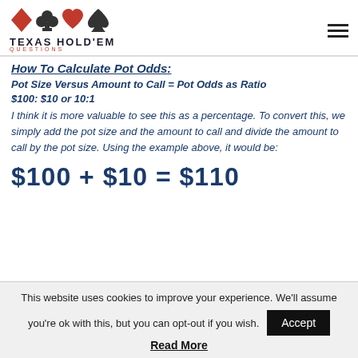Texas Hold'em Questions
How to Calculate Pot Odds:
Pot Size Versus Amount to Call = Pot Odds as Ratio
$100: $10 or 10:1
I think it is more valuable to see this as a percentage. To convert this, we simply add the pot size and the amount to call and divide the amount to call by the pot size. Using the example above, it would be:
This website uses cookies to improve your experience. We'll assume you're ok with this, but you can opt-out if you wish.
Read More